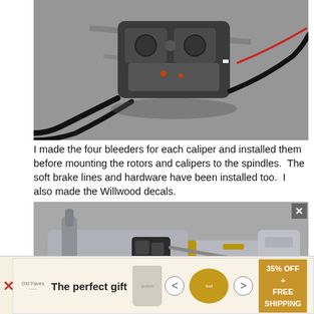[Figure (photo): Aerial view of brake calipers with soft brake lines and hardware laid out on a concrete surface, with black hoses extending outward.]
I made the four bleeders for each caliper and installed them before mounting the rotors and calipers to the spindles.  The soft brake lines and hardware have been installed too.  I also made the Willwood decals.
[Figure (photo): Close-up photo of a model car brake assembly showing the rotor, caliper, and mechanical linkage mounted on a model chassis, viewed from above.]
[Figure (other): Advertisement banner: 'The perfect gift' with food product imagery, arrows, and '35% OFF + FREE SHIPPING' offer in gold/brown color scheme.]